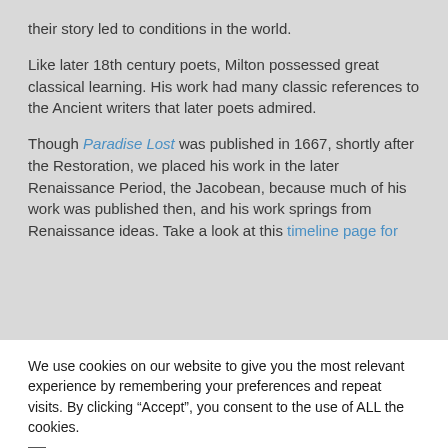their story led to conditions in the world.
Like later 18th century poets, Milton possessed great classical learning. His work had many classic references to the Ancient writers that later poets admired.
Though Paradise Lost was published in 1667, shortly after the Restoration, we placed his work in the later Renaissance Period, the Jacobean, because much of his work was published then, and his work springs from Renaissance ideas. Take a look at this timeline page for
We use cookies on our website to give you the most relevant experience by remembering your preferences and repeat visits. By clicking “Accept”, you consent to the use of ALL the cookies.
Do not sell my personal information.
Accept
Reject All
Read More